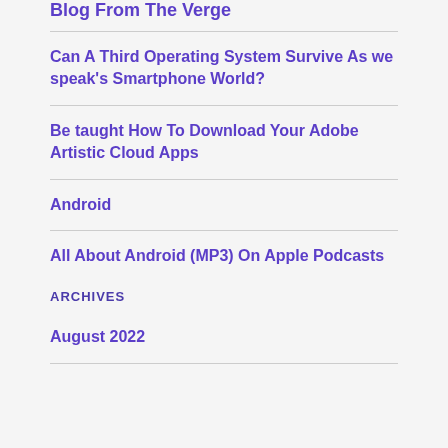Blog From The Verge
Can A Third Operating System Survive As we speak's Smartphone World?
Be taught How To Download Your Adobe Artistic Cloud Apps
Android
All About Android (MP3) On Apple Podcasts
ARCHIVES
August 2022